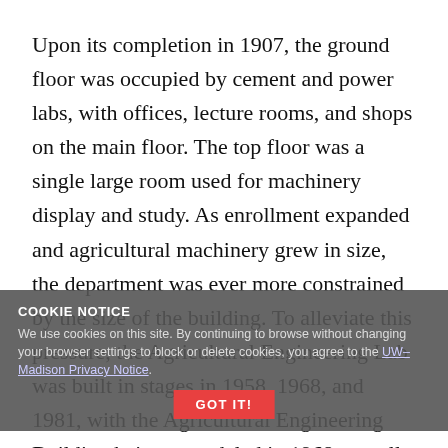Upon its completion in 1907, the ground floor was occupied by cement and power labs, with offices, lecture rooms, and shops on the main floor. The top floor was a single large room used for machinery display and study. As enrollment expanded and agricultural machinery grew in size, the department was ever more constrained by the size of the building. To alleviate this pressure, the Agricultural Engineering Lab was built in stages in 1958, 1968, and 1981, with the Agricultural Engineering Building being remodeled in 1968 as well.

Many historic events in Agricultural and Biological Engineering have taken place in this building over the years, such as Edward R. ... soil erosion and drainage studies, Floyd W. Duffee's development of the first
COOKIE NOTICE
We use cookies on this site. By continuing to browse without changing your browser settings to block or delete cookies, you agree to the UW–Madison Privacy Notice.
GOT IT!